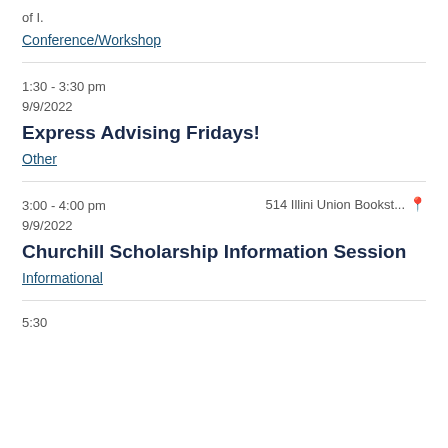of I.
Conference/Workshop
1:30 - 3:30 pm
9/9/2022
Express Advising Fridays!
Other
3:00 - 4:00 pm
9/9/2022
514 Illini Union Bookst...
Churchill Scholarship Information Session
Informational
5:30